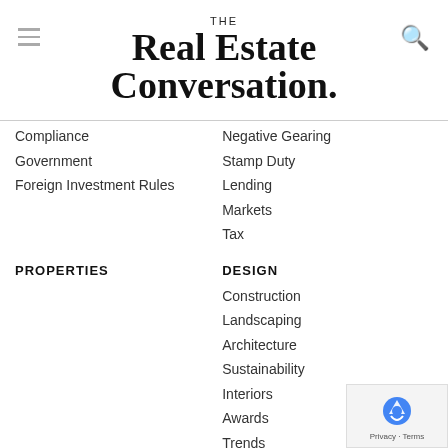THE Real Estate Conversation.
Compliance
Government
Foreign Investment Rules
Negative Gearing
Stamp Duty
Lending
Markets
Tax
PROPERTIES
DESIGN
Construction
Landscaping
Architecture
Sustainability
Interiors
Awards
Trends
PROFILES
WILLIAMS MEDIA NETWORK